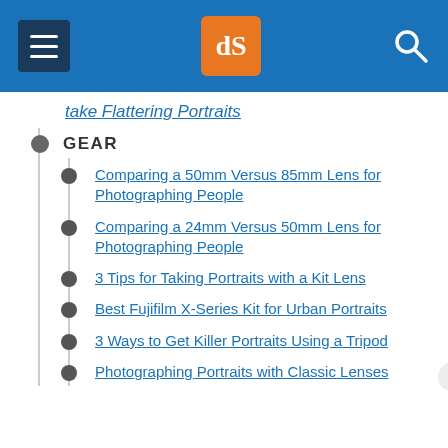dPS navigation header with menu, logo, and search
take Flattering Portraits
GEAR
Comparing a 50mm Versus 85mm Lens for Photographing People
Comparing a 24mm Versus 50mm Lens for Photographing People
3 Tips for Taking Portraits with a Kit Lens
Best Fujifilm X-Series Kit for Urban Portraits
3 Ways to Get Killer Portraits Using a Tripod
Photographing Portraits with Classic Lenses